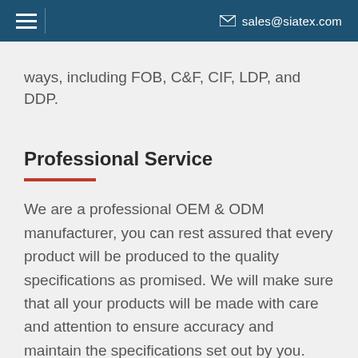sales@siatex.com
ways, including FOB, C&F, CIF, LDP, and DDP.
Professional Service
We are a professional OEM & ODM manufacturer, you can rest assured that every product will be produced to the quality specifications as promised. We will make sure that all your products will be made with care and attention to ensure accuracy and maintain the specifications set out by you.